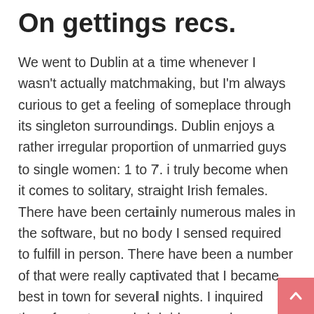On gettings recs.
We went to Dublin at a time whenever I wasn't actually matchmaking, but I'm always curious to get a feeling of someplace through its singleton surroundings. Dublin enjoys a rather irregular proportion of unmarried guys to single women: 1 to 7. i truly become when it comes to solitary, straight Irish females. There have been certainly numerous males in the software, but no body I sensed required to fulfill in person. There have been a number of that were really captivated that I became best in town for several nights. I inquired them for eatery and club ideas, and more than someone pointed me personally towards Grogans, which upon further examination is precisely the type of destination one Irish bro wants. Dark colored, dive-y, without pretense. These males undoubtedly weren't attempting to